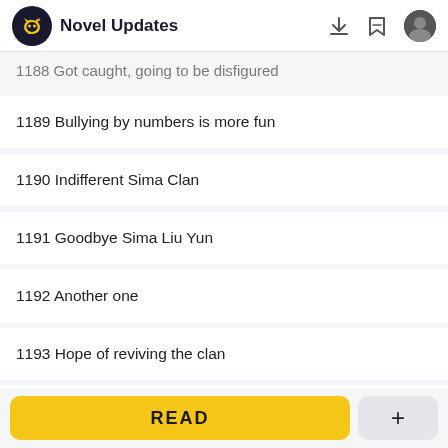Novel Updates
1188 Got caught, going to be disfigured
1189 Bullying by numbers is more fun
1190 Indifferent Sima Clan
1191 Goodbye Sima Liu Yun
1192 Another one
1193 Hope of reviving the clan
1194 Shameless suggestion
1195 Facing the Sima Clan